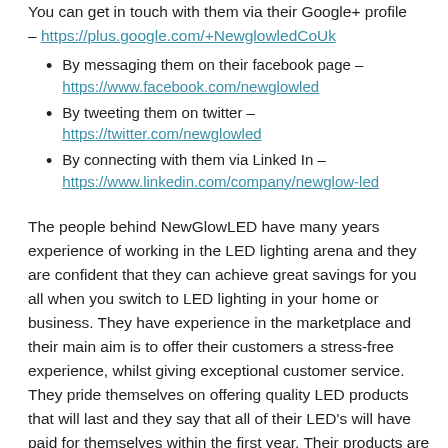You can get in touch with them via their Google+ profile – https://plus.google.com/+NewglowledCoUk
By messaging them on their facebook page – https://www.facebook.com/newglowled
By tweeting them on twitter – https://twitter.com/newglowled
By connecting with them via Linked In – https://www.linkedin.com/company/newglow-led
The people behind NewGlowLED have many years experience of working in the LED lighting arena and they are confident that they can achieve great savings for you all when you switch to LED lighting in your home or business. They have experience in the marketplace and their main aim is to offer their customers a stress-free experience, whilst giving exceptional customer service. They pride themselves on offering quality LED products that will last and they say that all of their LED's will have paid for themselves within the first year. Their products are energy efficient and ECO friendly and they are very conscious about their carbon